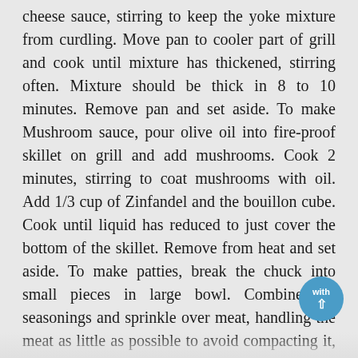cheese sauce, stirring to keep the yoke mixture from curdling. Move pan to cooler part of grill and cook until mixture has thickened, stirring often. Mixture should be thick in 8 to 10 minutes. Remove pan and set aside. To make Mushroom sauce, pour olive oil into fire-proof skillet on grill and add mushrooms. Cook 2 minutes, stirring to coat mushrooms with oil. Add 1/3 cup of Zinfandel and the bouillon cube. Cook until liquid has reduced to just cover the bottom of the skillet. Remove from heat and set aside. To make patties, break the chuck into small pieces in large bowl. Combine the seasonings and sprinkle over meat, handling the meat as little as possible to avoid compacting it, mix well. Divide the mixture into 6 equal portions. Take each portion and divided it equally and make 2 thin patties the same size as the rolls. Place ¼ cup of cheese sauce on top of 6 patties, then top with the other 6 patties. Seal the two patties together by pressing around the edges with your fingers to form the pocket burger. Brush grill with oil. Place the patties on the grill rack, cover and cook, turning once until